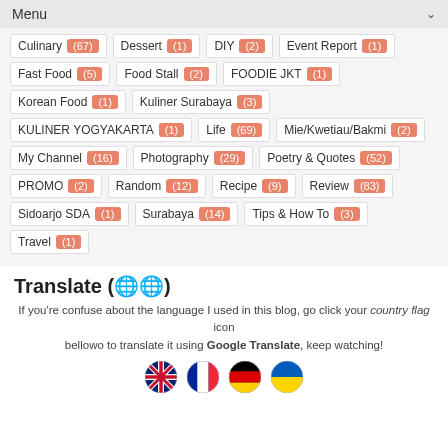Menu
Culinary (67)  Dessert (1)  DIY (2)  Event Report (1)
Fast Food (5)  Food Stall (2)  FOODIE JKT (1)
Korean Food (1)  Kuliner Surabaya (3)
KULINER YOGYAKARTA (1)  Life (69)  Mie/Kwetiau/Bakmi (2)
My Channel (16)  Photography (29)  Poetry & Quotes (52)
PROMO (2)  Random (12)  Recipe (9)  Review (83)
Sidoarjo SDA (1)  Surabaya (14)  Tips & How To (3)
Travel (1)
Translate (🌐)
If you're confuse about the language I used in this blog, go click your country flag icon bellowo to translate it using Google Translate, keep watching!
[Figure (illustration): Four circular flag icons: UK/English flag, French flag, German flag, Ukrainian flag]